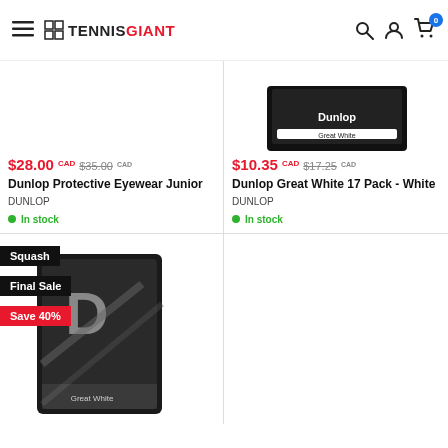Tennis Giant
[Figure (screenshot): Product image area for Dunlop Protective Eyewear Junior (partially visible, white background)]
$28.00 CAD $35.00 CAD
Dunlop Protective Eyewear Junior
DUNLOP
In stock
[Figure (photo): Product image of Dunlop Great White 17 Pack - White, showing a black rectangular package partially visible at top]
$10.35 CAD $17.25 CAD
Dunlop Great White 17 Pack - White
DUNLOP
In stock
[Figure (photo): Dunlop Great White ball can product image with D logo, black and silver design, partially visible with Squash, Final Sale, Save 40% badges overlaid]